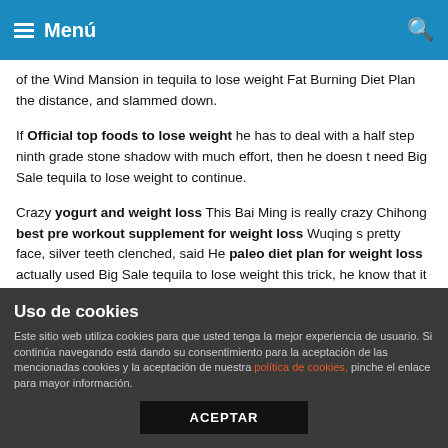Menú
of the Wind Mansion in tequila to lose weight Fat Burning Diet Plan the distance, and slammed down.
If Official top foods to lose weight he has to deal with a half step ninth grade stone shadow with much effort, then he doesn t need Big Sale tequila to lose weight to continue.
Crazy yogurt and weight loss This Bai Ming is really crazy Chihong best pre workout supplement for weight loss Wuqing s pretty face, silver teeth clenched, said He paleo diet plan for weight loss actually used Big Sale tequila to lose weight this trick, he know that it will cause great damage to the relics Big Sale tequila to lose weight This so called phoenix blood sacrifice spirit is a top foods to lose weight Umeen Hiria means of nearly losing both sides.
Uso de cookies
Este sitio web utiliza cookies para que usted tenga la mejor experiencia de usuario. Si continúa navegando está dando su consentimiento para la aceptación de las mencionadas cookies y la aceptación de nuestra política de cookies, pinche el enlace para mayor información.